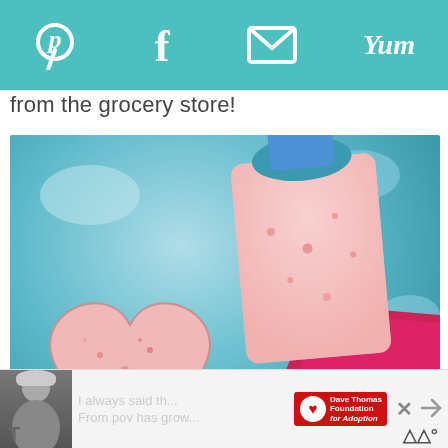Pinterest Facebook Email Yum
from the grocery store!
[Figure (photo): Close-up photo of heart-shaped pink strawberry popsicles/ice cream bars on a teal/blue background. One heart-shaped popsicle is in a pink mold and another smaller rectangular one is beside it, both showing a creamy pink strawberry texture. A blue heart like button overlay with count of 1 is visible.]
[Figure (photo): Advertisement banner at the bottom showing a person in winter clothing on the left, partially visible text in the middle, a Dave Thomas Foundation for Adoption red logo box, and a close/share button on the right.]